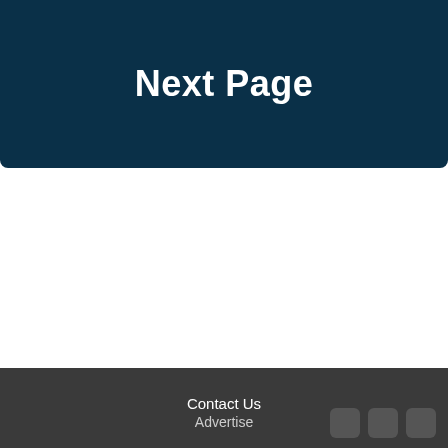Next Page
Contact Us
Advertise